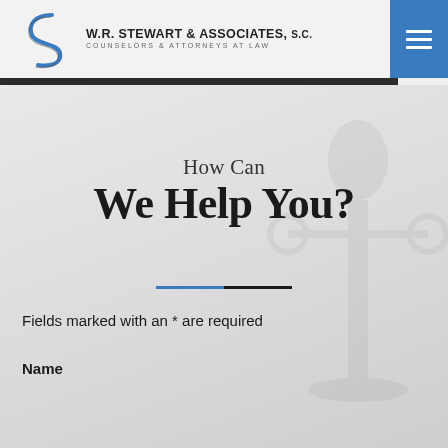[Figure (logo): W.R. Stewart & Associates, S.C. law firm logo with stylized S graphic and tagline Counselors & Attorneys at Law]
How Can We Help You?
Fields marked with an * are required
Name